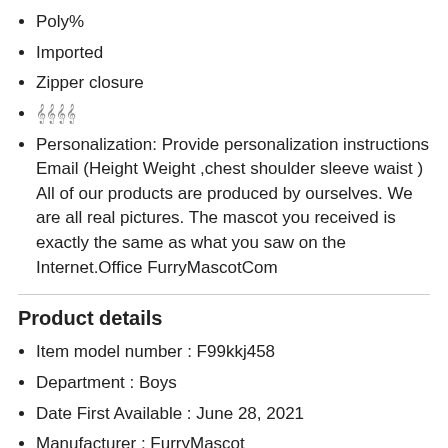Poly%
Imported
Zipper closure
𝄞𝄞𝄞𝄞
Personalization: Provide personalization instructions Email (Height Weight ,chest shoulder sleeve waist ) All of our products are produced by ourselves. We are all real pictures. The mascot you received is exactly the same as what you saw on the Internet.Office FurryMascotCom
Product details
Item model number : F99kkj458
Department : Boys
Date First Available : June 28, 2021
Manufacturer : FurryMascot
ASIN : B0983YFKP9